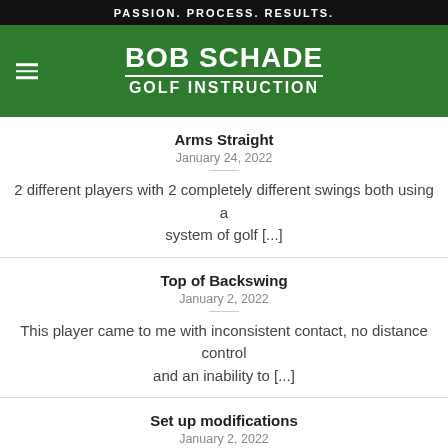PASSION. PROCESS. RESULTS.
BOB SCHADE GOLF INSTRUCTION
Arms Straight
January 24, 2022
2 different players with 2 completely different swings both using a system of golf [...]
Top of Backswing
January 2, 2022
This player came to me with inconsistent contact, no distance control and an inability to [...]
Set up modifications
January 2, 2022